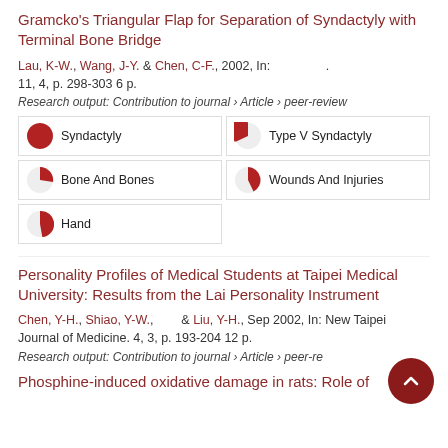Gramcko's Triangular Flap for Separation of Syndactyly with Terminal Bone Bridge
Lau, K-W., Wang, J-Y. & Chen, C-F., 2002, In: 11, 4, p. 298-303 6 p.
Research output: Contribution to journal › Article › peer-review
Syndactyly
Type V Syndactyly
Bone And Bones
Wounds And Injuries
Hand
Personality Profiles of Medical Students at Taipei Medical University: Results from the Lai Personality Instrument
Chen, Y-H., Shiao, Y-W., & Liu, Y-H., Sep 2002, In: New Taipei Journal of Medicine. 4, 3, p. 193-204 12 p.
Research output: Contribution to journal › Article › peer-review
Phosphine-induced oxidative damage in rats: Role of